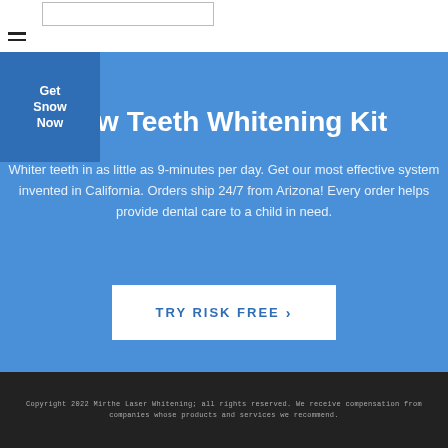[Figure (screenshot): Navigation search box input field]
[Figure (infographic): Hamburger menu icon with three horizontal lines]
[Figure (infographic): Get Snow Now dark blue button overlapping the hero section]
ow Teeth Whitening Kit
Whiter teeth in as little as 9-minutes per day. Get our most effective system invented in California. Orders ship 24/7 from Arizona! Every order helps provide dental care to a child in need.
Try Risk Free  >
Copyright 2022 Mirthe Laser Whitening; all rights reserved. We receive compensation from companies whose products and services we recommend.